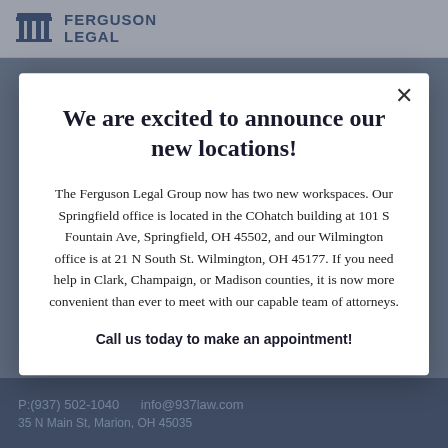FERGUSON LEGAL
We are excited to announce our new locations!
The Ferguson Legal Group now has two new workspaces. Our Springfield office is located in the COhatch building at 101 S Fountain Ave, Springfield, OH 45502, and our Wilmington office is at 21 N South St. Wilmington, OH 45177. If you need help in Clark, Champaign, or Madison counties, it is now more convenient than ever to meet with our capable team of attorneys.
Call us today to make an appointment!
P:(937) 502-1040   info@937law.com
35 N Main St, Marion, OH 45035